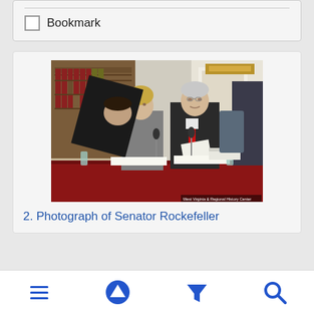Bookmark
[Figure (photo): Photograph showing Senator Rockefeller and a woman seated at a red-cloth covered conference table, with a man leaning over from behind, in a formal hearing room with bookshelves and fireplace. Watermark: West Virginia & Regional History Center.]
2. Photograph of Senator Rockefeller